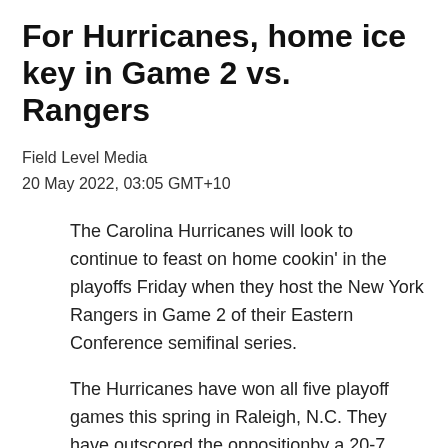For Hurricanes, home ice key in Game 2 vs. Rangers
Field Level Media
20 May 2022, 03:05 GMT+10
The Carolina Hurricanes will look to continue to feast on home cookin' in the playoffs Friday when they host the New York Rangers in Game 2 of their Eastern Conference semifinal series.
The Hurricanes have won all five playoff games this spring in Raleigh, N.C. They have outscored the oppositionby a 20-7 margin and killed off 92.3 percent of